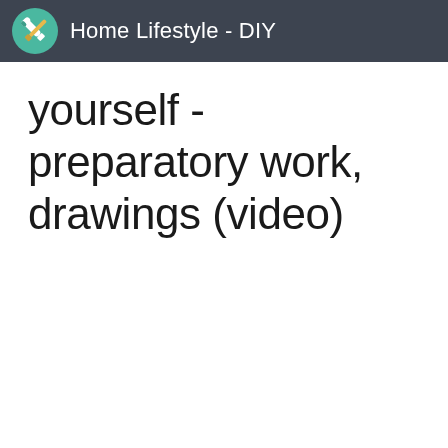Home Lifestyle - DIY
yourself - preparatory work, drawings (video)